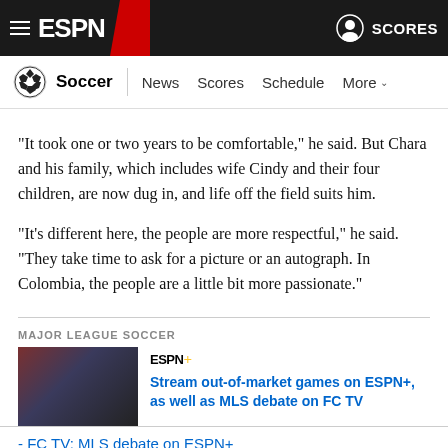ESPN - Soccer | News  Scores  Schedule  More
"It took one or two years to be comfortable," he said. But Chara and his family, which includes wife Cindy and their four children, are now dug in, and life off the field suits him.
"It's different here, the people are more respectful," he said. "They take time to ask for a picture or an autograph. In Colombia, the people are a little bit more passionate."
MAJOR LEAGUE SOCCER
[Figure (photo): Two soccer players celebrating on field]
ESPN+ Stream out-of-market games on ESPN+, as well as MLS debate on FC TV
- FC TV: MLS debate on ESPN+